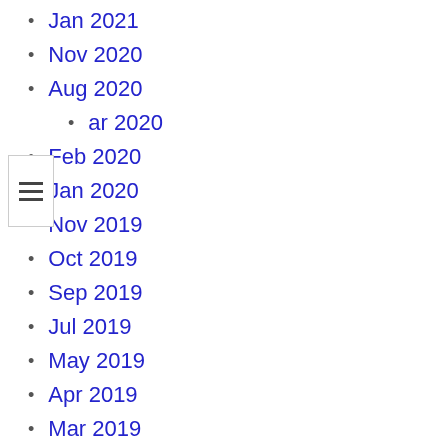Jan 2021
Nov 2020
Aug 2020
Mar 2020
Feb 2020
Jan 2020
Nov 2019
Oct 2019
Sep 2019
Jul 2019
May 2019
Apr 2019
Mar 2019
Feb 2019
Jan 2019
Nov 2018
Aug 2018
Jul 2018